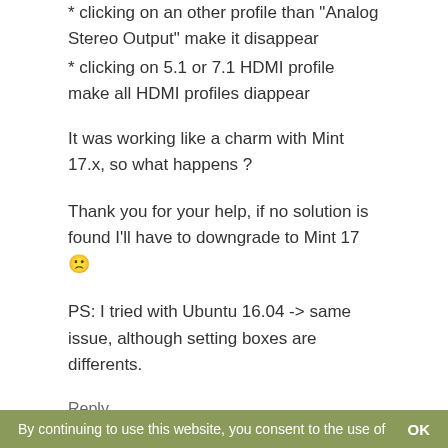* clicking on an other profile than “Analog Stereo Output” make it disappear
* clicking on 5.1 or 7.1 HDMI profile make all HDMI profiles diappear
It was working like a charm with Mint 17.x, so what happens ?
Thank you for your help, if no solution is found I’ll have to downgrade to Mint 17 😕
PS: I tried with Ubuntu 16.04 -> same issue, although setting boxes are differents.
Reply
John
By continuing to use this website, you consent to the use of   OK